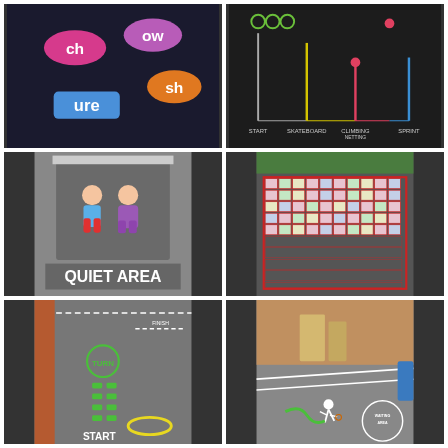[Figure (photo): Playground marking on dark tarmac showing phonics letter combinations: 'ch', 'ow', 'sh' as pink/orange oval badges, and 'ure' as a blue rectangle badge]
[Figure (photo): Dark background with colorful vertical line graph or thermometer-style chart showing measurements in green, yellow, pink, and blue lines with labels at bottom]
[Figure (photo): Playground area with cartoon painted figures of two children (boy and girl) on grey mat with 'QUIET AREA' written in large white letters below]
[Figure (photo): School playground with large numbered grid/100-square painted on tarmac in red border with colourful green, yellow, pink squares containing numbers]
[Figure (photo): Narrow alleyway playground with hopscotch-style number track painted in green and white, with 'TURN' circle and 'START' text visible, yellow hoop on ground]
[Figure (photo): School playground exterior showing sports markings including a basketball/netball player silhouette, circular logo area, and 'WAITING AREA' text painted on tarmac]